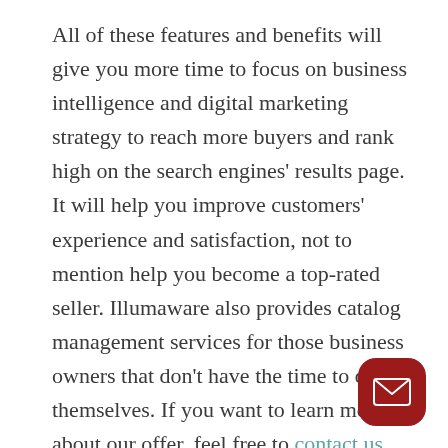All of these features and benefits will give you more time to focus on business intelligence and digital marketing strategy to reach more buyers and rank high on the search engines' results page. It will help you improve customers' experience and satisfaction, not to mention help you become a top-rated seller. Illumaware also provides catalog management services for those business owners that don't have the time to do this themselves. If you want to learn more about our offer, feel free to contact us directly or schedule a live demo at your convenience.